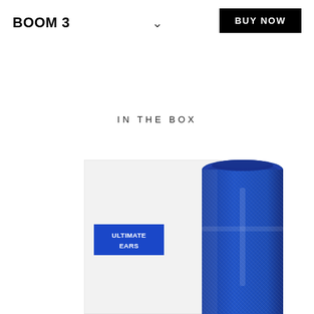BOOM 3
BUY NOW
IN THE BOX
[Figure (photo): Product shot showing Ultimate Ears BOOM 3 blue Bluetooth speaker next to its white product packaging box with Ultimate Ears blue label badge]